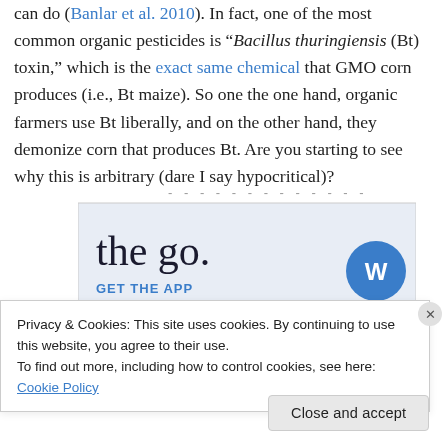can do (Banlar et al. 2010). In fact, one of the most common organic pesticides is “Bacillus thuringiensis (Bt) toxin,” which is the exact same chemical that GMO corn produces (i.e., Bt maize). So one the one hand, organic farmers use Bt liberally, and on the other hand, they demonize corn that produces Bt. Are you starting to see why this is arbitrary (dare I say hypocritical)?
[Figure (screenshot): Advertisement banner showing partial text 'the go.' and 'GET THE APP' with WordPress logo]
Privacy & Cookies: This site uses cookies. By continuing to use this website, you agree to their use.
To find out more, including how to control cookies, see here: Cookie Policy
Close and accept